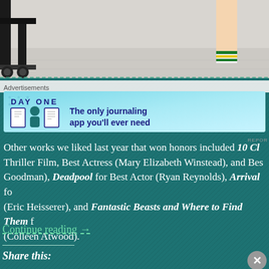[Figure (photo): Top of page showing wheeled cart/trolley legs on the left and a person's leg with sock on the right, on a light floor background]
Advertisements
[Figure (infographic): DAY ONE journaling app advertisement banner with teal background, icons of a notebook, person, and list, with text 'The only journaling app you'll ever need']
Other works we liked last year that won honors included 10 Cl... Thriller Film, Best Actress (Mary Elizabeth Winstead), and Bes... Goodman), Deadpool for Best Actor (Ryan Reynolds), Arrival fo... (Eric Heisserer), and Fantastic Beasts and Where to Find Them f... (Colleen Atwood).
Continue reading →
Share this:
Advertisements
[Figure (infographic): Pocket Casts advertisement on red background: 'An app by listeners, for listeners.' with phone showing Distilled podcast artwork and Pocket Casts logo]